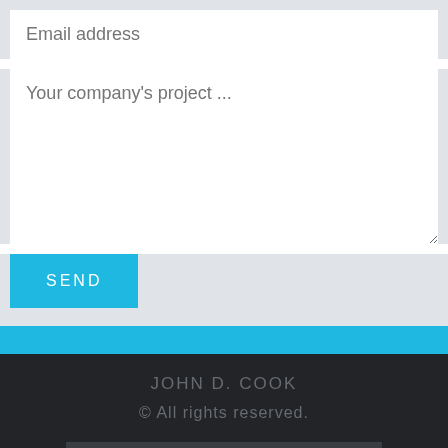Email address
Your company's project ...
SEND
JOHN D. COOK
© All rights reserved.
Search ...